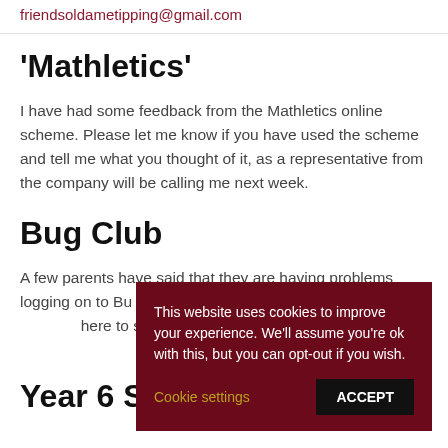friendsoldametipping@gmail.com
'Mathletics'
I have had some feedback from the Mathletics online scheme. Please let me know if you have used the scheme and tell me what you thought of it, as a representative from the company will be calling me next week.
Bug Club
A few parents have said that they are having problems logging on to Bu... called 'will it wor... here to see wha... problems using ... McCormack, ou...
Year 6 SATs
This website uses cookies to improve your experience. We'll assume you're ok with this, but you can opt-out if you wish.
Cookie settings   ACCEPT